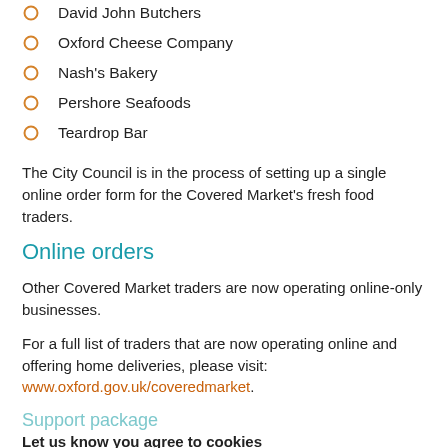David John Butchers
Oxford Cheese Company
Nash's Bakery
Pershore Seafoods
Teardrop Bar
The City Council is in the process of setting up a single online order form for the Covered Market's fresh food traders.
Online orders
Other Covered Market traders are now operating online-only businesses.
For a full list of traders that are now operating online and offering home deliveries, please visit: www.oxford.gov.uk/coveredmarket.
Support package
Let us know you agree to cookies